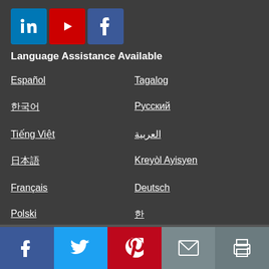[Figure (logo): Social media icons: LinkedIn (blue), YouTube (red), Facebook (blue)]
Language Assistance Available
Español
Tagalog
한국어
Русский
Tiếng Việt
العربية
日本語
Kreyòl Ayisyen
Français
Deutsch
Polski
한
Português
فارسی
Italiano
English
[Figure (infographic): Footer social sharing bar: Facebook, Twitter, Pinterest, Email, Print buttons]